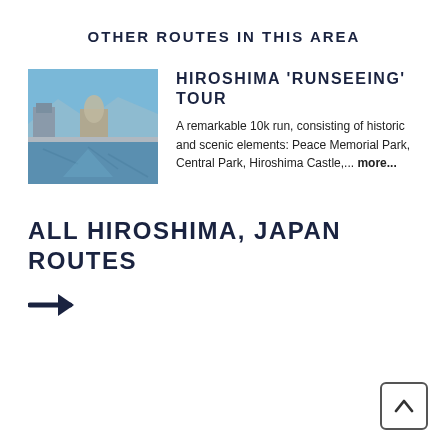OTHER ROUTES IN THIS AREA
[Figure (photo): Photo of Hiroshima with a river in the foreground and a domed building in the background under a blue sky]
HIROSHIMA 'RUNSEEING' TOUR
A remarkable 10k run, consisting of historic and scenic elements: Peace Memorial Park, Central Park, Hiroshima Castle,... more...
ALL HIROSHIMA, JAPAN ROUTES
[Figure (other): Right arrow icon]
[Figure (other): Back to top button with upward caret]